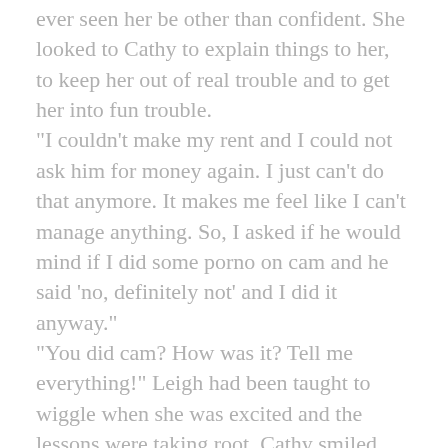ever seen her be other than confident. She looked to Cathy to explain things to her, to keep her out of real trouble and to get her into fun trouble.
"I couldn't make my rent and I could not ask him for money again. I just can't do that anymore. It makes me feel like I can't manage anything. So, I asked if he would mind if I did some porno on cam and he said 'no, definitely not' and I did it anyway."
"You did cam? How was it? Tell me everything!" Leigh had been taught to wiggle when she was excited and the lessons were taking root. Cathy smiled when she saw the shimmy of Leigh's hips as she settled in to listen. She was excited and Cathy was just scared to death.
"It was nothing really, not erotic at all. I took off